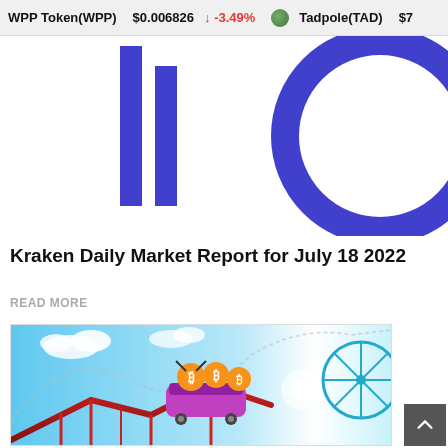WPP Token(WPP)  $0.006826  ↓ -3.49%  Tadpole(TAD)  $7...
[Figure (other): Partial bar/candlestick chart with blue vertical bars on white background, cropped at top]
Kraken Daily Market Report for July 18 2022
READ MORE
[Figure (illustration): Cartoon illustration of Bitcoin emoji characters riding a rollercoaster with a blue sky and a ferris wheel in the background]